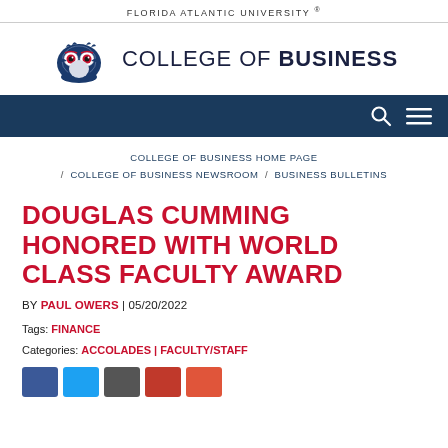FLORIDA ATLANTIC UNIVERSITY ®
[Figure (logo): FAU owl mascot logo in blue and red, next to 'COLLEGE OF BUSINESS' text]
[Figure (screenshot): Dark blue navigation bar with search and menu icons]
COLLEGE OF BUSINESS HOME PAGE / COLLEGE OF BUSINESS NEWSROOM / BUSINESS BULLETINS
DOUGLAS CUMMING HONORED WITH WORLD CLASS FACULTY AWARD
BY PAUL OWERS | 05/20/2022
Tags: FINANCE
Categories: ACCOLADES | FACULTY/STAFF